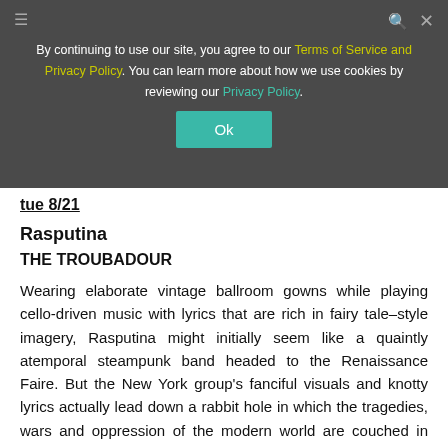[Figure (screenshot): Website cookie consent banner overlay on top of a site header showing the logo 'LAWERLY' in large dark letters. The banner has a dark gray background with white text about terms of service and privacy policy, with yellow and teal colored links, and a teal 'Ok' button.]
tue 8/21
Rasputina
THE TROUBADOUR
Wearing elaborate vintage ballroom gowns while playing cello-driven music with lyrics that are rich in fairy tale–style imagery, Rasputina might initially seem like a quaintly atemporal steampunk band headed to the Renaissance Faire. But the New York group's fanciful visuals and knotty lyrics actually lead down a rabbit hole in which the tragedies, wars and oppression of the modern world are couched in ultra-fantastic symbolism: the